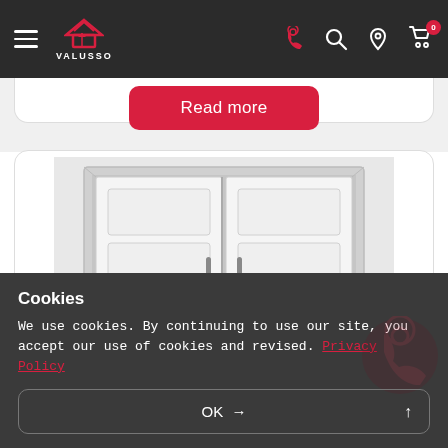VALUSSO - navigation header with hamburger menu, logo, phone, search, location, and cart icons
[Figure (screenshot): Read more button (pink/red rounded button) partially visible above a white product card]
[Figure (photo): White bifold/double interior doors product image inside a rounded card]
Cookies
We use cookies. By continuing to use our site, you accept our use of cookies and revised. Privacy Policy
OK →